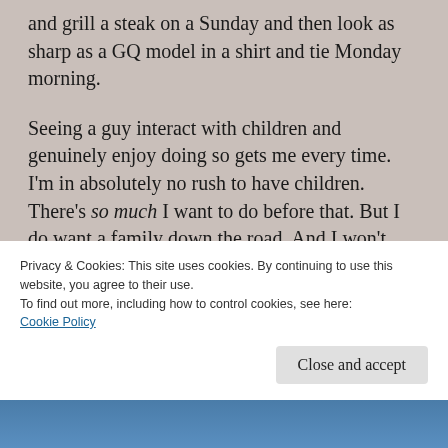and grill a steak on a Sunday and then look as sharp as a GQ model in a shirt and tie Monday morning.
Seeing a guy interact with children and genuinely enjoy doing so gets me every time. I'm in absolutely no rush to have children. There's so much I want to do before that. But I do want a family down the road. And I won't settle for anything less than a fun-loving, energetic, goofy yet stern man to help me raise our kids.
Someone who will hold the door and remember
Privacy & Cookies: This site uses cookies. By continuing to use this website, you agree to their use.
To find out more, including how to control cookies, see here:
Cookie Policy
Close and accept